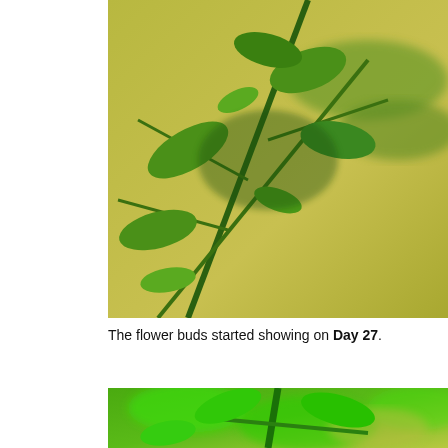[Figure (photo): Close-up photograph of a green plant with stems and small leaves against a yellow-green blurred background, showing plant growth at an early stage.]
The flower buds started showing on Day 27.
[Figure (photo): Close-up photograph of a green plant stem with small leaves and a visible yellow flower bud near the bottom, against a yellow-green blurred background.]